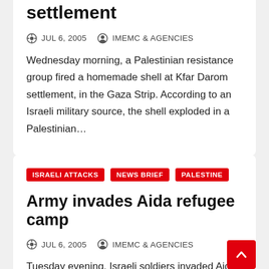settlement
JUL 6, 2005   IMEMC & AGENCIES
Wednesday morning, a Palestinian resistance group fired a homemade shell at Kfar Darom settlement, in the Gaza Strip. According to an Israeli military source, the shell exploded in a Palestinian...
ISRAELI ATTACKS   NEWS BRIEF   PALESTINE
Army invades Aida refugee camp
JUL 6, 2005   IMEMC & AGENCIES
Tuesday evening, Israeli soldiers invaded Aida